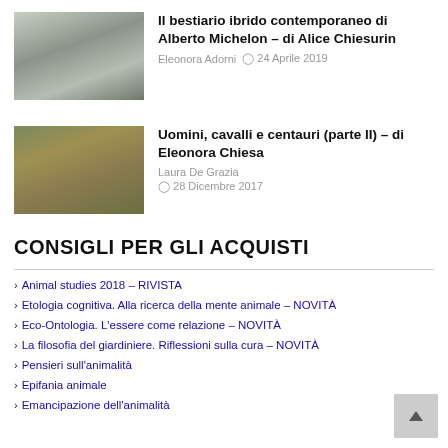[Figure (photo): Photo of sculptural figures in an exhibition space with window light]
Il bestiario ibrido contemporaneo di Alberto Michelon – di Alice Chiesurin
Eleonora Adorni  ⊙ 24 Aprile 2019
[Figure (photo): Photo of a deer or horse-like animal standing in a field with bushes]
Uomini, cavalli e centauri (parte II) – di Eleonora Chiesa
Laura De Grazia
⊙ 28 Dicembre 2017
CONSIGLI PER GLI ACQUISTI
Animal studies 2018 – RIVISTA
Etologia cognitiva. Alla ricerca della mente animale – NOVITÀ
Eco-Ontologia. L'essere come relazione – NOVITÀ
La filosofia del giardiniere. Riflessioni sulla cura – NOVITÀ
Pensieri sull'animalità
Epifania animale
Emancipazione dell'animalità